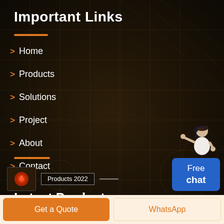Important Links
Home
Products
Solutions
Project
About
Contact
[Figure (illustration): Customer service agent illustration with Free chat blue button widget]
Latest Products
[Figure (photo): Product thumbnail image showing industrial equipment]
Products 2022
Get a Quote | WhatsApp